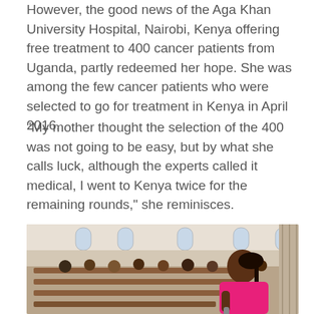However, the good news of the Aga Khan University Hospital, Nairobi, Kenya offering free treatment to 400 cancer patients from Uganda, partly redeemed her hope. She was among the few cancer patients who were selected to go for treatment in Kenya in April 2016.
“My mother thought the selection of the 400 was not going to be easy, but by what she calls luck, although the experts called it medical, I went to Kenya twice for the remaining rounds,” she reminisces.
[Figure (photo): A woman in a pink top holding a microphone addresses a congregation seated in church pews inside a building with arched windows. Multiple people are visible in the background.]